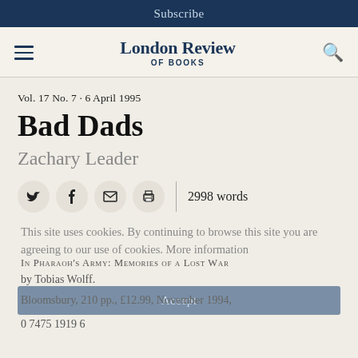Subscribe
London Review of Books
Vol. 17 No. 7 · 6 April 1995
Bad Dads
Zachary Leader
2998 words
This site uses cookies. By continuing to browse this site you are agreeing to our use of cookies. More information
IN PHARAOH'S ARMY: MEMORIES OF A LOST WAR by Tobias Wolff.
Bloomsbury, 210 pp., £12.99, November 1994, 0 7475 1919 6